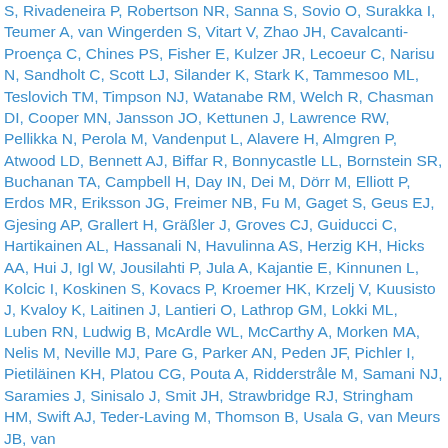S, Rivadeneira P, Robertson NR, Sanna S, Sovio O, Surakka I, Teumer A, van Wingerden S, Vitart V, Zhao JH, Cavalcanti-Proença C, Chines PS, Fisher E, Kulzer JR, Lecoeur C, Narisu N, Sandholt C, Scott LJ, Silander K, Stark K, Tammesoo ML, Teslovich TM, Timpson NJ, Watanabe RM, Welch R, Chasman DI, Cooper MN, Jansson JO, Kettunen J, Lawrence RW, Pellikka N, Perola M, Vandenput L, Alavere H, Almgren P, Atwood LD, Bennett AJ, Biffar R, Bonnycastle LL, Bornstein SR, Buchanan TA, Campbell H, Day IN, Dei M, Dörr M, Elliott P, Erdos MR, Eriksson JG, Freimer NB, Fu M, Gaget S, Geus EJ, Gjesing AP, Grallert H, Gräßler J, Groves CJ, Guiducci C, Hartikainen AL, Hassanali N, Havulinna AS, Herzig KH, Hicks AA, Hui J, Igl W, Jousilahti P, Jula A, Kajantie E, Kinnunen L, Kolcic I, Koskinen S, Kovacs P, Kroemer HK, Krzelj V, Kuusisto J, Kvaloy K, Laitinen J, Lantieri O, Lathrop GM, Lokki ML, Luben RN, Ludwig B, McArdle WL, McCarthy A, Morken MA, Nelis M, Neville MJ, Pare G, Parker AN, Peden JF, Pichler I, Pietiläinen KH, Platou CG, Pouta A, Ridderstråle M, Samani NJ, Saramies J, Sinisalo J, Smit JH, Strawbridge RJ, Stringham HM, Swift AJ, Teder-Laving M, Thomson B, Usala G, van Meurs JB, van